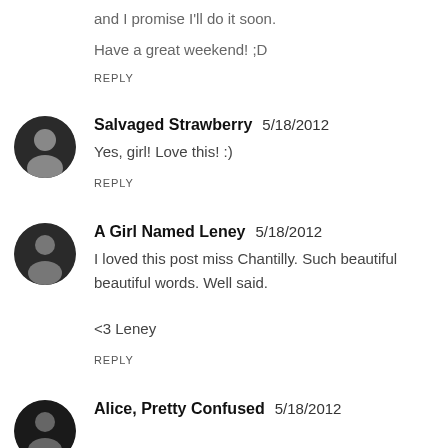and I promise I'll do it soon.
Have a great weekend! ;D
REPLY
Salvaged Strawberry  5/18/2012
Yes, girl! Love this! :)
REPLY
A Girl Named Leney  5/18/2012
I loved this post miss Chantilly. Such beautiful beautiful words. Well said.

<3 Leney
REPLY
Alice, Pretty Confused  5/18/2012